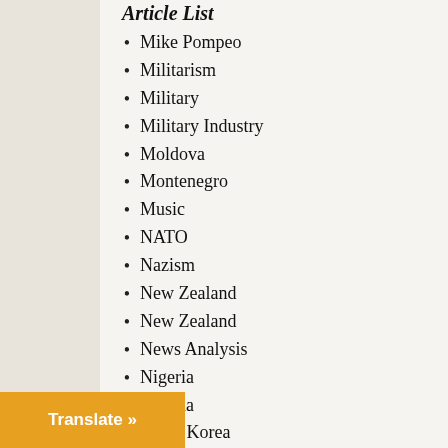Mike Pompeo
Militarism
Military
Military Industry
Moldova
Montenegro
Music
NATO
Nazism
New Zealand
New Zealand
News Analysis
Nigeria
Nigeria
North Korea
Northern Rhodesia
Norway
Nuclear Weapons
Obama Administration